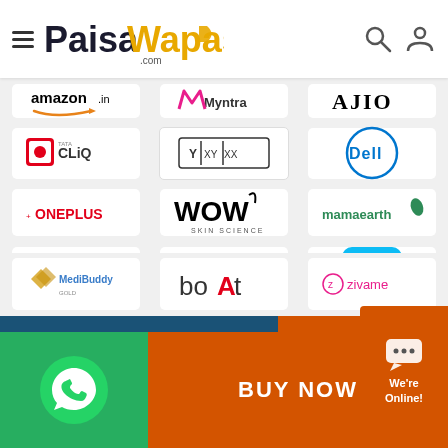[Figure (logo): PaisaWapas.com website header with hamburger menu, logo, search and user icons]
[Figure (logo): Amazon.in logo]
[Figure (logo): Myntra logo]
[Figure (logo): AJIO logo]
[Figure (logo): Tata CLiQ logo]
[Figure (logo): XYXX logo]
[Figure (logo): Dell logo]
[Figure (logo): OnePlus logo]
[Figure (logo): WOW Skin Science logo]
[Figure (logo): Mamaearth logo]
[Figure (logo): McAfee logo]
[Figure (logo): Beardo logo]
[Figure (logo): Meesho logo (blue app icon)]
[Figure (logo): DaMENSCH logo]
[Figure (logo): Pure Sense logo]
[Figure (logo): Coco Soul logo]
[Figure (logo): MediBuddy logo]
[Figure (logo): boAt logo]
[Figure (logo): Zivame logo]
[Figure (screenshot): Footer with WhatsApp icon, BUY NOW button in orange, and We're Online chat widget]